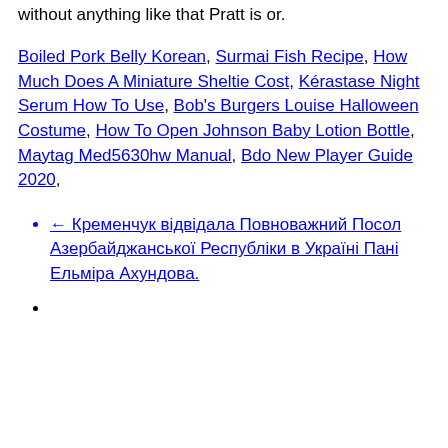without anything like that Pratt is or.
Boiled Pork Belly Korean, Surmai Fish Recipe, How Much Does A Miniature Sheltie Cost, Kérastase Night Serum How To Use, Bob's Burgers Louise Halloween Costume, How To Open Johnson Baby Lotion Bottle, Maytag Med5630hw Manual, Bdo New Player Guide 2020,
← Кременчук відвідала Повноважний Посол Азербайджанської Республіки в Україні Пані Ельміра Ахундова.